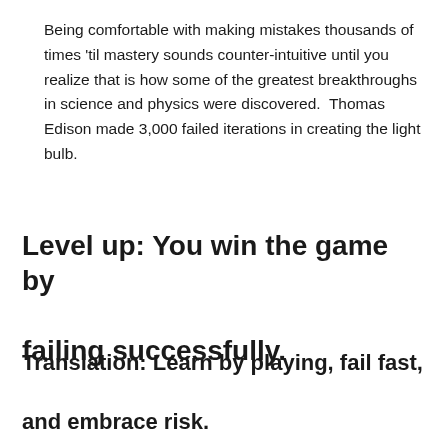Being comfortable with making mistakes thousands of times 'til mastery sounds counter-intuitive until you realize that is how some of the greatest breakthroughs in science and physics were discovered.  Thomas Edison made 3,000 failed iterations in creating the light bulb.
Level up: You win the game by failing successfully.
Translation: Learn by playing, fail fast, and embrace risk.